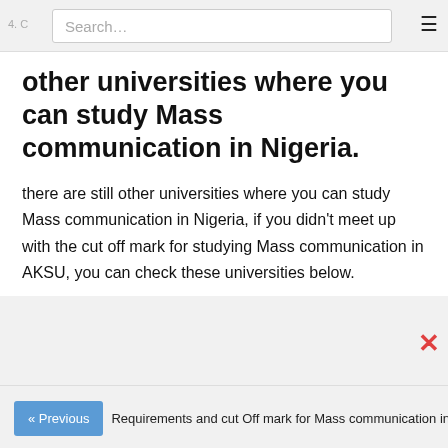4. C... Search... ☰
other universities where you can study Mass communication in Nigeria.
there are still other universities where you can study Mass communication in Nigeria, if you didn't meet up with the cut off mark for studying Mass communication in AKSU, you can check these universities below.
« Previous  Requirements and cut Off mark for Mass communication in